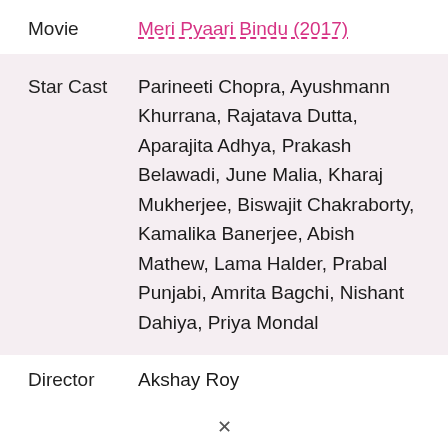Movie   Meri Pyaari Bindu (2017)
Star Cast   Parineeti Chopra, Ayushmann Khurrana, Rajatava Dutta, Aparajita Adhya, Prakash Belawadi, June Malia, Kharaj Mukherjee, Biswajit Chakraborty, Kamalika Banerjee, Abish Mathew, Lama Halder, Prabal Punjabi, Amrita Bagchi, Nishant Dahiya, Priya Mondal
Director   Akshay Roy